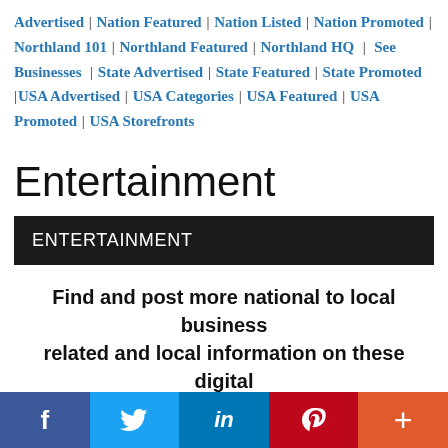Advertised | Nation Featured | Nation Listed | Nation Promoted | Northland 101 | Northland Featured | Northland HQ | See Businesses | State Advertised | State Featured | State Promoted | USA Advertised | USA Categories | USA Featured | USA Promoted | USA Storefronts
Entertainment
ENTERTAINMENT
Find and post more national to local business related and local information on these digital
[Figure (infographic): Social media share bar with Facebook, Twitter, LinkedIn, Pinterest, and More (+) buttons]